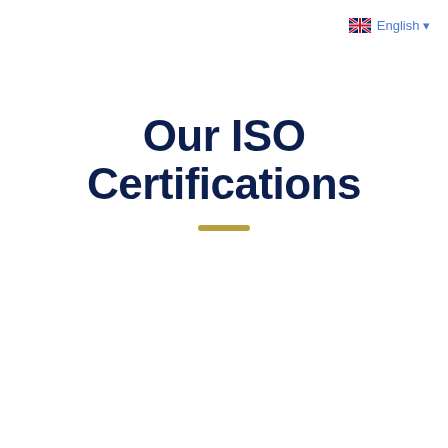English ▾
Our ISO Certifications